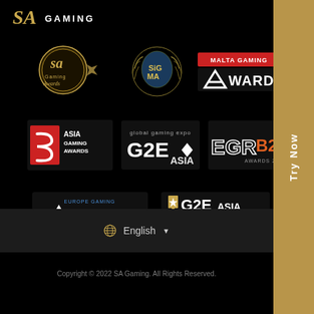SA Gaming
[Figure (logo): SA Gaming Awards logo - gold circular emblem with 'SA Gaming Awards' text]
[Figure (logo): SiGMA awards logo - circular shield with laurel wreath]
[Figure (logo): Malta Gaming Awards logo - white text on dark with red accent]
[Figure (logo): Asia Gaming Awards logo - red square logo with letter S design]
[Figure (logo): G2E Asia logo - global gaming expo G2E Asia text]
[Figure (logo): EGR B2B Awards 2021 logo]
[Figure (logo): Europe Gaming Awards logo - white triangle/A shape with text]
[Figure (logo): G2E Asia Awards logo - gold trophy with yellow banner]
English
Copyright © 2022 SA Gaming. All Rights Reserved.